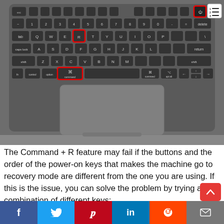[Figure (photo): MacBook keyboard viewed from above with the R key and Command key highlighted with red boxes, showing the Command + R keyboard shortcut. A table-of-contents icon is visible in the top right corner.]
The Command + R feature may fail if the buttons and the order of the power-on keys that makes the machine go to recovery mode are different from the one you are using. If this is the issue, you can solve the problem by trying a combination of different keys;
f  Twitter  Pinterest  in  Reddit  Email